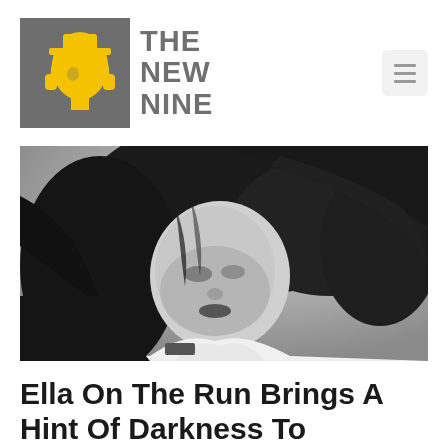[Figure (logo): The New Nine logo: grey square with yellow face/headphone icon, followed by bold grey text reading THE NEW NINE]
[Figure (photo): Black and white portrait photo of a woman with flowing dark hair, head tilted down, wearing a white top]
Ella On The Run Brings A Hint Of Darkness To...